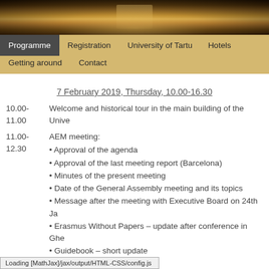[Figure (photo): Header photo of a university building at night with warm lighting]
Programme | Registration | University of Tartu | Hotels | Getting around | Contact
7 February 2019, Thursday, 10.00-16.30
10.00-
11.00	Welcome and historical tour in the main building of the University
11.00-
12.30	AEM meeting:
• Approval of the agenda
• Approval of the last meeting report (Barcelona)
• Minutes of the present meeting
• Date of the General Assembly meeting and its topics
• Message after the meeting with Executive Board on 24th January
• Erasmus Without Papers – update after conference in Ghent
• Guidebook – short update
• SEN – next steps
Loading [MathJax]/jax/output/HTML-CSS/config.js